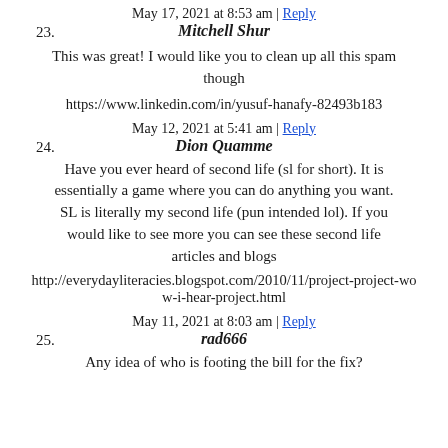May 17, 2021 at 8:53 am | Reply
23. Mitchell Shur
This was great! I would like you to clean up all this spam though
https://www.linkedin.com/in/yusuf-hanafy-82493b183
May 12, 2021 at 5:41 am | Reply
24. Dion Quamme
Have you ever heard of second life (sl for short). It is essentially a game where you can do anything you want. SL is literally my second life (pun intended lol). If you would like to see more you can see these second life articles and blogs
http://everydayliteracies.blogspot.com/2010/11/project-project-wow-i-hear-project.html
May 11, 2021 at 8:03 am | Reply
25. rad666
Any idea of who is footing the bill for the fix?